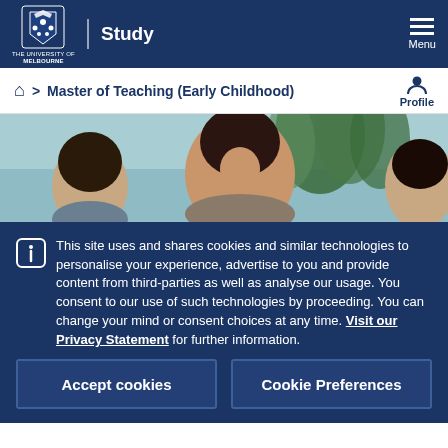The University of Melbourne — Study — Menu
Home > Master of Teaching (Early Childhood) — Profile
[Figure (photo): Photo of a smiling woman (early childhood educator) with children in a classroom setting with a plant in the background]
This site uses and shares cookies and similar technologies to personalise your experience, advertise to you and provide content from third-parties as well as analyse our usage. You consent to our use of such technologies by proceeding. You can change your mind or consent choices at any time. Visit our Privacy Statement for further information.
Accept cookies
Cookie Preferences